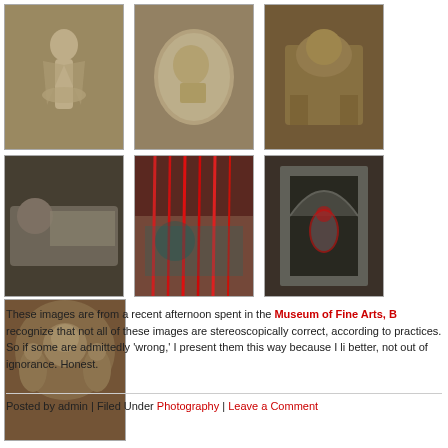[Figure (photo): Grid of 7 museum artifact photographs: row 1 has angel/figure statue, relief portrait medallion, lion/guardian statue; row 2 has reclining figure sarcophagus, anaglyph 3D image of figures/battle scene, anaglyph 3D image of Buddha in shrine; row 3 has Buddhist relief carving with multiple figures]
These images are from a recent afternoon spent in the Museum of Fine Arts, B recognize that not all of these images are stereoscopically correct, according to practices. So if some are admittedly 'wrong,' I present them this way because I li better, not out of ignorance. Honest.
Posted by admin | Filed Under Photography | Leave a Comment